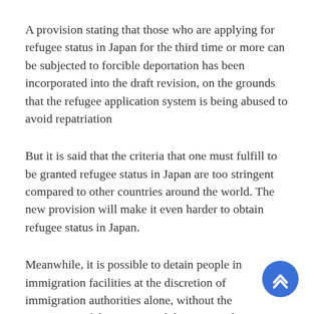A provision stating that those who are applying for refugee status in Japan for the third time or more can be subjected to forcible deportation has been incorporated into the draft revision, on the grounds that the refugee application system is being abused to avoid repatriation
But it is said that the criteria that one must fulfill to be granted refugee status in Japan are too stringent compared to other countries around the world. The new provision will make it even harder to obtain refugee status in Japan.
Meanwhile, it is possible to detain people in immigration facilities at the discretion of immigration authorities alone, without the permission of the courts, and there are no limits to the length of time